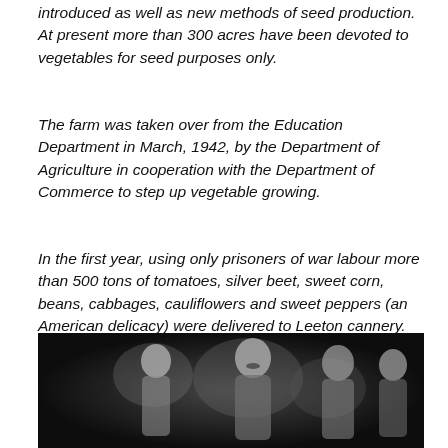introduced as well as new methods of seed production. At present more than 300 acres have been devoted to vegetables for seed purposes only.
The farm was taken over from the Education Department in March, 1942, by the Department of Agriculture in cooperation with the Department of Commerce to step up vegetable growing.
In the first year, using only prisoners of war labour more than 500 tons of tomatoes, silver beet, sweet corn, beans, cabbages, cauliflowers and sweet peppers (an American delicacy) were delivered to Leeton cannery. The area under vegetables was 320 acres.
[Figure (photo): Black and white photograph showing several people, appearing to be workers or prisoners of war, in an indoor or agricultural setting.]